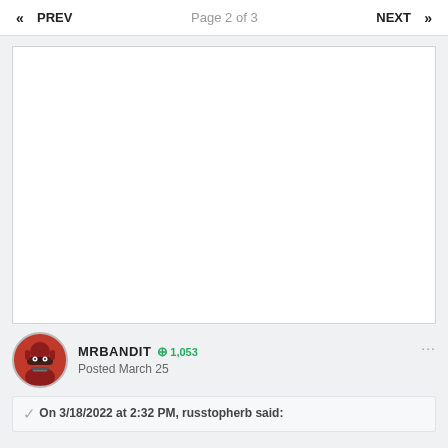« PREV   Page 2 of 3   NEXT »
[Figure (other): Large white blank image/content area]
MRBANDIT  +1,053
Posted March 25
On 3/18/2022 at 2:32 PM, russtopherb said: